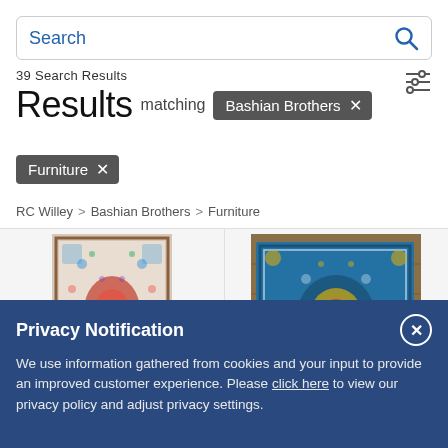[Figure (screenshot): Search bar with placeholder text 'Search' and a blue magnifying glass icon on the right]
39 Search Results
Results  matching  Bashian Brothers ×  Furniture ×
RC Willey > Bashian Brothers > Furniture
[Figure (photo): Dakota Transitional Teal rug product photo showing a colorful Persian-style rug with red, blue, and pink tones on white background]
Dakota Transitional Teal
[Figure (photo): Dakota Transitional Teal Area Rug product photo showing a teal/blue oriental rug with floral medallion pattern, photographed on wood floor]
Dakota Transitional Teal Area Rug
Privacy Notification
We use information gathered from cookies and your input to provide an improved customer experience. Please click here to view our privacy policy and adjust privacy settings.